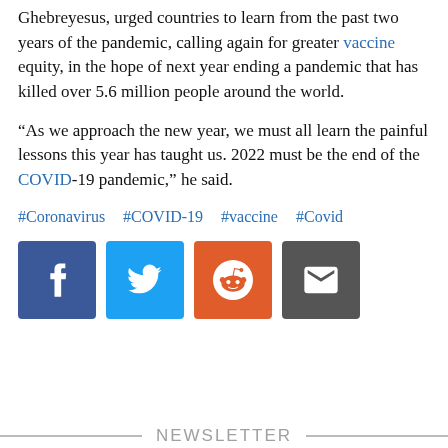Ghebreyesus, urged countries to learn from the past two years of the pandemic, calling again for greater vaccine equity, in the hope of next year ending a pandemic that has killed over 5.6 million people around the world.
“As we approach the new year, we must all learn the painful lessons this year has taught us. 2022 must be the end of the COVID-19 pandemic,” he said.
#Coronavirus  #COVID-19  #vaccine  #Covid
[Figure (infographic): Social sharing buttons for Facebook, Twitter, Reddit, and Email]
NEWSLETTER